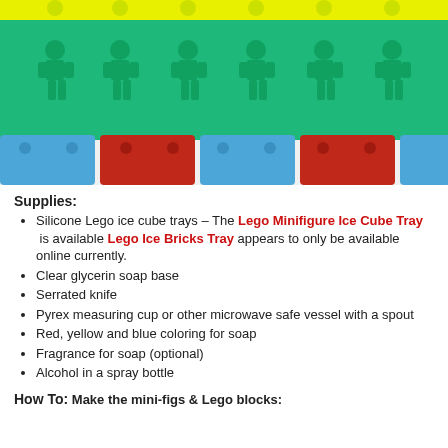[Figure (photo): Photo of colorful Lego-shaped soaps: yellow minifigures in the back row, green minifigures in the middle rows, and alternating blue and red Lego brick shapes in the front row, arranged on a white surface.]
Supplies:
Silicone Lego ice cube trays – The Lego Minifigure Ice Cube Tray  is available  Lego Ice Bricks Tray  appears to only be available online currently.
Clear glycerin soap base
Serrated knife
Pyrex measuring cup or other microwave safe vessel with a spout
Red, yellow and blue coloring for soap
Fragrance for soap (optional)
Alcohol in a spray bottle
How To:
Make the mini-figs & Lego blocks: